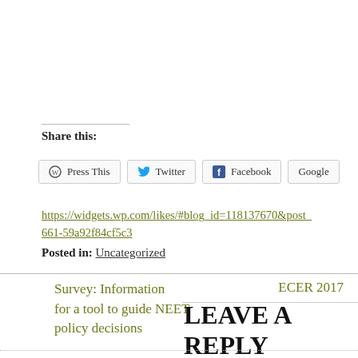Share this:
Press This  Twitter  Facebook  Google
https://widgets.wp.com/likes/#blog_id=118137670&post_661-59a92f84cf5c3
Posted in: Uncategorized
Survey: Information for a tool to guide NEET policy decisions
ECER 2017
LEAVE A REPLY